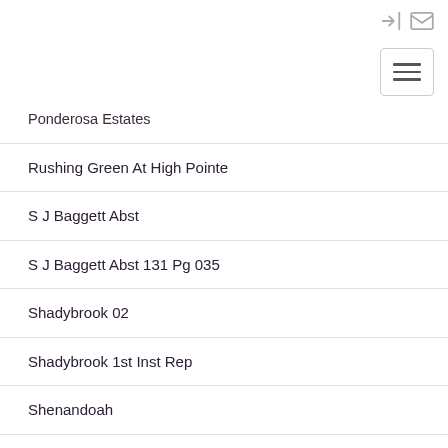[icons: login, mail, hamburger menu]
Ponderosa Estates
Rushing Green At High Pointe
S J Baggett Abst
S J Baggett Abst 131 Pg 035
Shadybrook 02
Shadybrook 1st Inst Rep
Shenandoah
South Hills Park 01